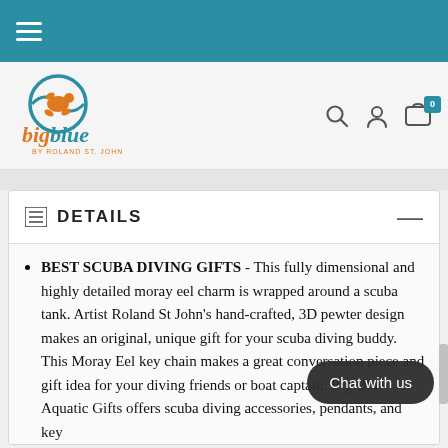Navigation bar with hamburger menu
[Figure (logo): Big Blue by Roland St John logo — orange and teal turtle/wave graphic with 'bigblue' in orange/teal script and 'BY ROLAND ST. JOHN' in small caps below]
DETAILS
BEST SCUBA DIVING GIFTS - This fully dimensional and highly detailed moray eel charm is wrapped around a scuba tank. Artist Roland St John's hand-crafted, 3D pewter design makes an original, unique gift for your scuba diving buddy. This Moray Eel key chain makes a great conversation piece and gift idea for your diving friends or boat captain. Big Blue Aquatic Gifts offers scuba diving accessories, pendants, and key